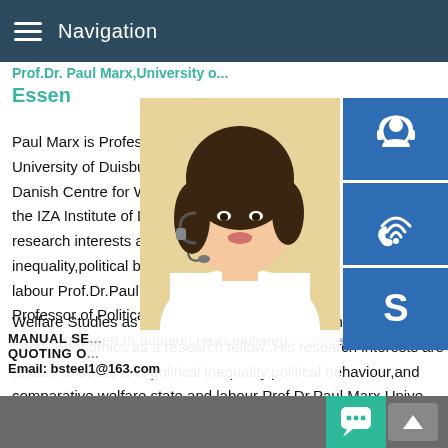Navigation
Prof.Dr. Paul Marx,University of Duisburg-Essen
Paul Marx is Professor of Political Science at the University of Duisburg-Essen.In addition,he is affiliated to the Danish Centre for Welfare Studies as a part-time professor and to the IZA Institute of Labor Economics as a research fellow..His research interests are related to social and political inequality,political behaviour,and comparative welfare state and labour Prof.Dr.Paul Marx,University of Duisburg-Essen is Professor of Political Science and Socio-Economics at the University of Duisburg-Essen.In addition,he is affiliated to the Danish Centre for Welfare Studies as a part-time professor and to the IZA Institute of Labor Economics as a research fellow..His research interests are related to social and political inequality,political behaviour,and comparative welfare state and labour Prof.Dr.Paul Marx,University of Duisburg-EssenPaul Marx is Professor of Political Science a
[Figure (photo): Woman with headset, customer support representative]
[Figure (infographic): Blue sidebar icons: headset/support icon, phone/wifi icon, Skype icon]
MANUAL SE... QUOTING O... Email: bsteel1@163.com